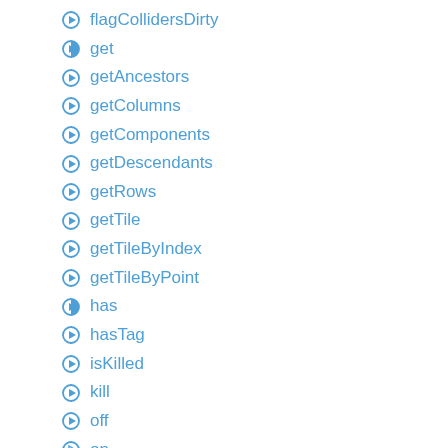flagCollidersDirty
get
getAncestors
getColumns
getComponents
getDescendants
getRows
getTile
getTileByIndex
getTileByPoint
has
hasTag
isKilled
kill
off
on
onInitialize
onPostUpdate
onPreUpdate
once
removeAllChildren